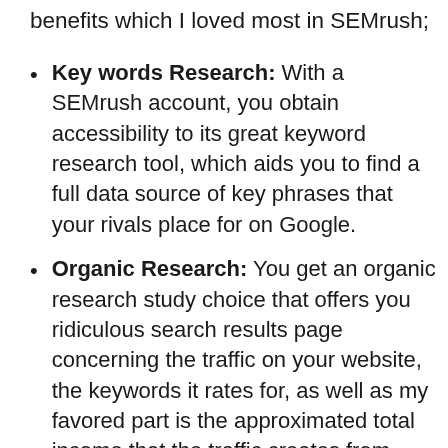benefits which I loved most in SEMrush;
Key words Research: With a SEMrush account, you obtain accessibility to its great keyword research tool, which aids you to find a full data source of key phrases that your rivals place for on Google.
Organic Research: You get an organic research study choice that offers you ridiculous search results page concerning the traffic on your website, the keywords it rates for, as well as my favored part is the approximated total income that the traffic creates from your website.
Link Building Tool: SEMRUSH provides you with a different backlink